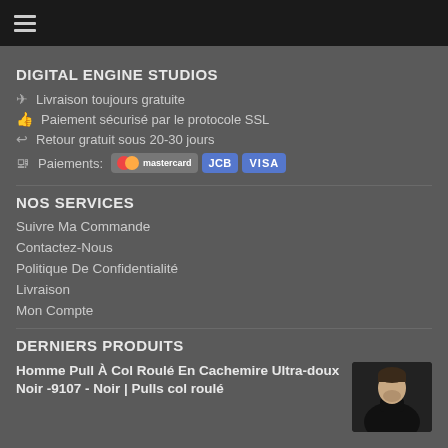☰ (hamburger menu icon)
DIGITAL ENGINE STUDIOS
✈ Livraison toujours gratuite
👍 Paiement sécurisé par le protocole SSL
↩ Retour gratuit sous 20-30 jours
🖳 Paiements: mastercard JCB VISA
NOS SERVICES
Suivre Ma Commande
Contactez-Nous
Politique De Confidentialité
Livraison
Mon Compte
DERNIERS PRODUITS
Homme Pull À Col Roulé En Cachemire Ultra-doux Noir -9107 - Noir | Pulls col roulé
[Figure (photo): Photo of a man wearing a black turtleneck sweater]